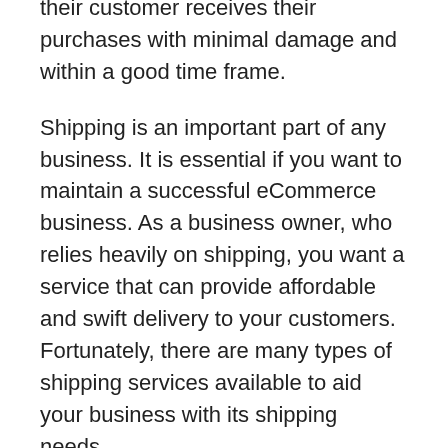owners are now searching for ways to ensure that their customer receives their purchases with minimal damage and within a good time frame.
Shipping is an important part of any business. It is essential if you want to maintain a successful eCommerce business. As a business owner, who relies heavily on shipping, you want a service that can provide affordable and swift delivery to your customers. Fortunately, there are many types of shipping services available to aid your business with its shipping needs.
So, when you're running an online business, you need to ship your products to your customers as quickly as possible, so finding new shipping options is your best choice. To do this, you will want to use fulfillment services to help with the shipping process. Here are a few things you'll need to think